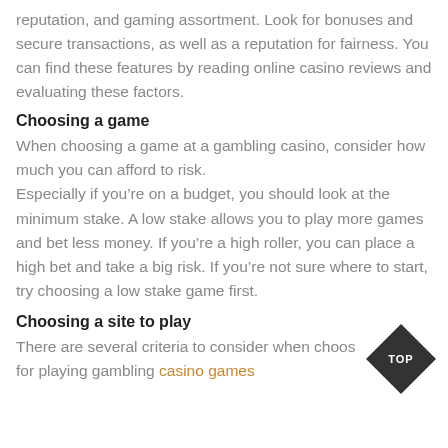reputation, and gaming assortment. Look for bonuses and secure transactions, as well as a reputation for fairness. You can find these features by reading online casino reviews and evaluating these factors.
Choosing a game
When choosing a game at a gambling casino, consider how much you can afford to risk. Especially if you’re on a budget, you should look at the minimum stake. A low stake allows you to play more games and bet less money. If you’re a high roller, you can place a high bet and take a big risk. If you’re not sure where to start, try choosing a low stake game first.
Choosing a site to play
There are several criteria to consider when choosing a site for playing gambling casino games